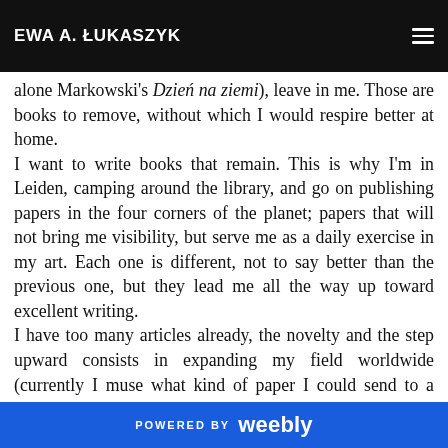EWA A. ŁUKASZYK
alone Markowski's Dzień na ziemi), leave in me. Those are books to remove, without which I would respire better at home.
I want to write books that remain. This is why I'm in Leiden, camping around the library, and go on publishing papers in the four corners of the planet; papers that will not bring me visibility, but serve me as a daily exercise in my art. Each one is different, not to say better than the previous one, but they lead me all the way up toward excellent writing.
I have too many articles already, the novelty and the step upward consists in expanding my field worldwide (currently I muse what kind of paper I could send to a comparative literature journal published in Shiraz; I'm thinking about the presence of Omar Khayyam).
POWERED BY weebly